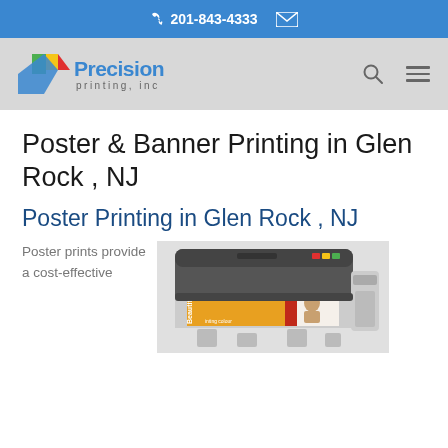201-843-4333  [email icon]
[Figure (logo): Precision Printing Inc logo with colorful flag/arrow graphic and blue text]
Poster & Banner Printing in Glen Rock , NJ
Poster Printing in Glen Rock , NJ
Poster prints provide a cost-effective
[Figure (photo): Large format inkjet printer printing a colorful banner with a woman's photo and text 'Beautiful Printing colour']